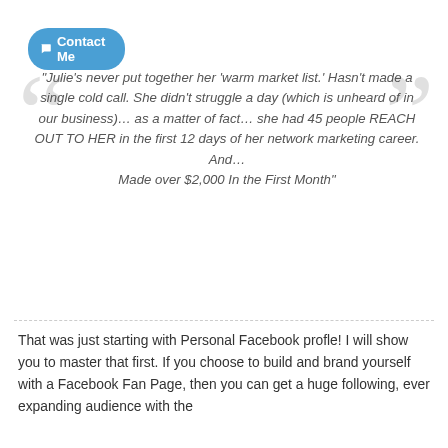[Figure (other): Blue rounded button with chat bubble icon labeled 'Contact Me']
"Julie's never put together her 'warm market list.' Hasn't made a single cold call. She didn't struggle a day (which is unheard of in our business)… as a matter of fact… she had 45 people REACH OUT TO HER in the first 12 days of her network marketing career. And… Made over $2,000 In the First Month"
That was just starting with Personal Facebook profle! I will show you to master that first. If you choose to build and brand yourself with a Facebook Fan Page, then you can get a huge following, ever expanding audience with the